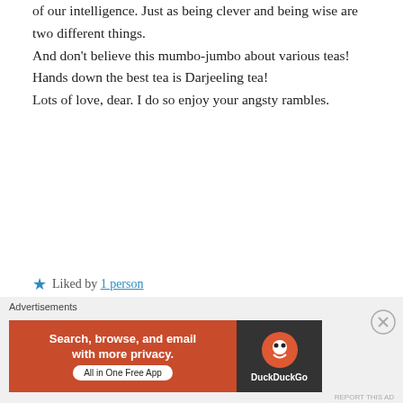of our intelligence. Just as being clever and being wise are two different things.
And don't believe this mumbo-jumbo about various teas! Hands down the best tea is Darjeeling tea!
Lots of love, dear. I do so enjoy your angsty rambles.
★ Liked by 1 person
Log in to Reply
Moushmi Radhanpara
July 26, 2019 at 10:58 am
Thanks so much dear.
Advertisements
Search, browse, and email with more privacy.
All in One Free App
DuckDuckGo